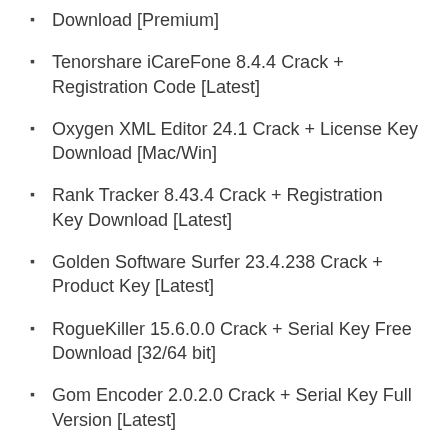Download [Premium]
Tenorshare iCareFone 8.4.4 Crack + Registration Code [Latest]
Oxygen XML Editor 24.1 Crack + License Key Download [Mac/Win]
Rank Tracker 8.43.4 Crack + Registration Key Download [Latest]
Golden Software Surfer 23.4.238 Crack + Product Key [Latest]
RogueKiller 15.6.0.0 Crack + Serial Key Free Download [32/64 bit]
Gom Encoder 2.0.2.0 Crack + Serial Key Full Version [Latest]
Categories
3D Graphics
3D Softwares
Activators
Android